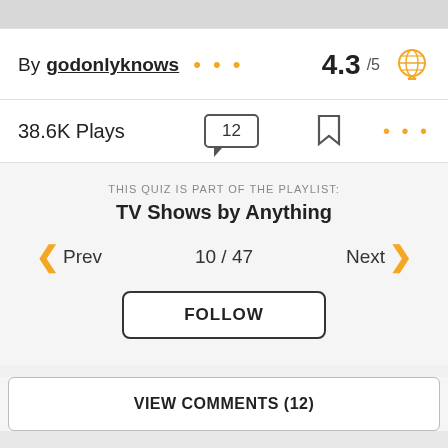By godonlyknows • • • 4.3 /5
38.6K Plays   12   (bookmark)   • • •
THIS QUIZ IS PART OF THE PLAYLIST:
TV Shows by Anything
< Prev   10 / 47   Next >
FOLLOW
VIEW COMMENTS (12)